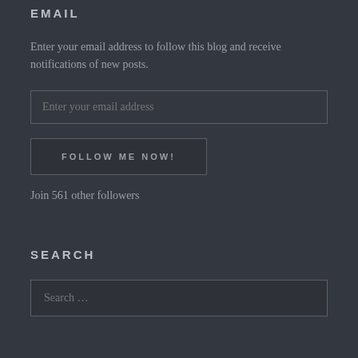EMAIL
Enter your email address to follow this blog and receive notifications of new posts.
Enter your email address
FOLLOW ME NOW!
Join 561 other followers
SEARCH
Search …